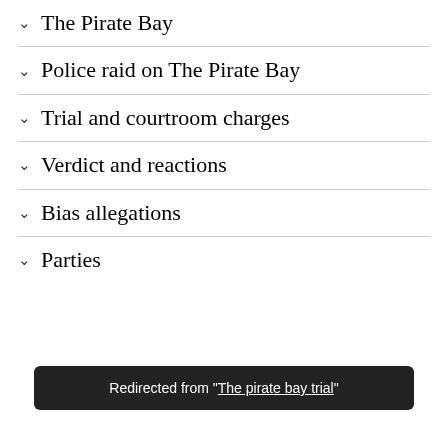The Pirate Bay
Police raid on The Pirate Bay
Trial and courtroom charges
Verdict and reactions
Bias allegations
Parties
Redirected from "The pirate bay trial"